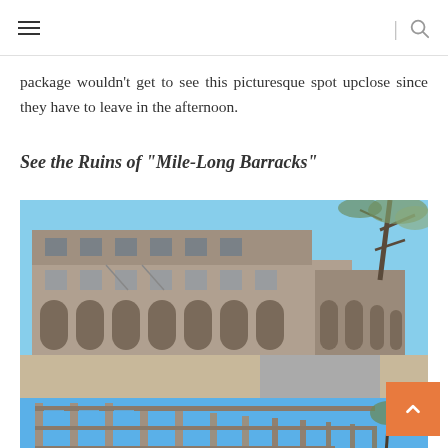Navigation header with hamburger menu and search icon
package wouldn't get to see this picturesque spot upclose since they have to leave in the afternoon.
See the Ruins of “Mile-Long Barracks”
[Figure (photo): Ruins of the Mile-Long Barracks building showing deteriorated multi-story concrete structure with arched openings, empty window frames, and a tree visible against a blue sky]
[Figure (photo): Second view of the Mile-Long Barracks ruins showing skeletal concrete framework against a bright blue sky with surrounding trees]